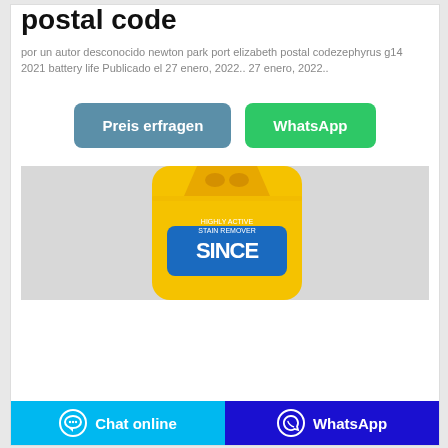postal code
por un autor desconocido newton park port elizabeth postal codezephyrus g14 2021 battery life Publicado el 27 enero, 2022.. 27 enero, 2022..
[Figure (other): Two buttons: 'Preis erfragen' (blue-grey) and 'WhatsApp' (green)]
[Figure (photo): Yellow laundry detergent powder bag with blue text branding on grey background]
Chat online   WhatsApp